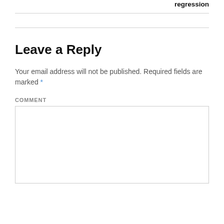regression
Leave a Reply
Your email address will not be published. Required fields are marked *
COMMENT